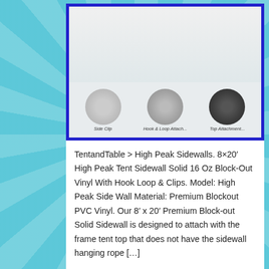[Figure (photo): Product image of a tent sidewall with a blue border, showing a white vinyl panel at top and three circular thumbnail images at the bottom with labels]
TentandTable > High Peak Sidewalls. 8×20′ High Peak Tent Sidewall Solid 16 Oz Block-Out Vinyl With Hook Loop & Clips. Model: High Peak Side Wall Material: Premium Blockout PVC Vinyl. Our 8′ x 20′ Premium Block-out Solid Sidewall is designed to attach with the frame tent top that does not have the sidewall hanging rope […]
Posted in high | Tagged 8x20, blockout, clips, high, hook, loop, peak, sidewall, solid, tent, vinyl